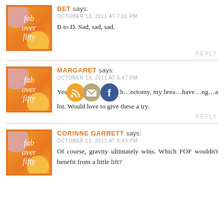[Figure (logo): Fab Over Fifty avatar logo with orange border]
BET says:
OCTOBER 13, 2011 AT 7:01 PM
B to D. Sad, sad, sad.
REPLY
[Figure (logo): Fab Over Fifty avatar logo with orange border]
MARGARET says:
OCTOBER 13, 2011 AT 6:47 PM
Yes [icons] h...ectomy, my brea...have...ng...a lot. Would love to give these a try.
[Figure (infographic): Three social media icons: RSS (orange), Email (tan), Facebook (blue)]
REPLY
[Figure (logo): Fab Over Fifty avatar logo with orange border]
CORINNE GARRETT says:
OCTOBER 13, 2011 AT 6:43 PM
Of course, gravity ultimately wins. Which FOF wouldn't benefit from a little lift?